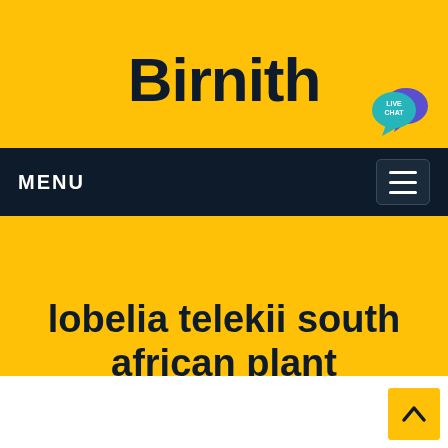Birnith
[Figure (illustration): Live chat speech bubble icon with teal and purple colors, showing 'LIVE CHAT' text]
lobelia telekii south african plant
Home / Products